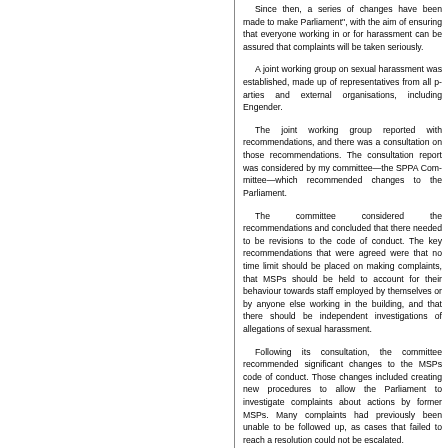Since then, a series of changes have been made to make Parliament a safer place, with the aim of ensuring that everyone working in or for Parliament, harassment can be assured that complaints will be taken seriously.
A joint working group on sexual harassment was established by the Parliamentary Bureau, made up of representatives from all parties and external organisations, including Engender.
The joint working group reported with recommendations in 2018, and there was a public consultation on those recommendations. The consultation report was then considered by my committee—the SPPA Committee—and the Parliament debated recommendations from the Parliament.
The committee considered the recommendations and concluded that there needed to be revisions to the code of conduct for MSPs. The key recommendations that were agreed were that no time limit should be placed on making complaints, that MSPs should be held to account for their behaviour towards staff employed by the Parliament, by themselves or by anyone else working in the building, and that there should be independent external investigations of allegations of sexual harassment.
Following its consultation, the committee recommended significant changes to the MSPs code of conduct. Those changes included creating new procedures to allow the Parliament to investigate complaints about actions by former MSPs—that was important because many complaints had previously been unable to be followed up, as cases that mediation or negotiation failed to reach a resolution could not be escalated.
The code changes also introduced a new definition of sexual harassment and a new standard, agreed by the Parliament, for the behaviour of MSPs. The new definition includes bullying, harassment and sexual harassment and sets out the standard that should be applied.